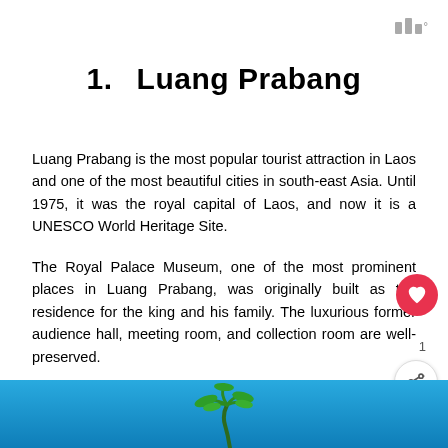[Figure (logo): App logo with three vertical bars of increasing height and a degree symbol]
1.    Luang Prabang
Luang Prabang is the most popular tourist attraction in Laos and one of the most beautiful cities in south-east Asia. Until 1975, it was the royal capital of Laos, and now it is a UNESCO World Heritage Site.
The Royal Palace Museum, one of the most prominent places in Luang Prabang, was originally built as the residence for the king and his family. The luxurious former audience hall, meeting room, and collection room are well-preserved.
[Figure (photo): Photo of a tropical scene with blue sky and palm trees at the bottom of the page]